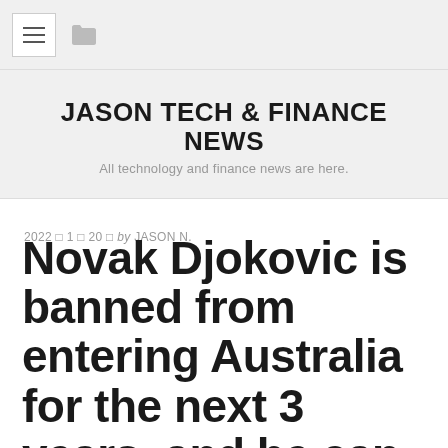JASON TECH & FINANCE NEWS — All technology and finance news are here.
2022 × 1 × 20 × by JASON N.
Novak Djokovic is banned from entering Australia for the next 3 years, and he can